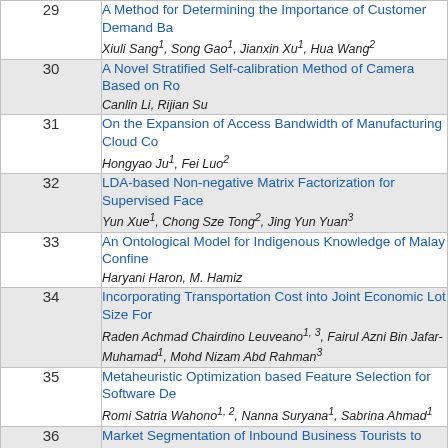| # | Title / Authors |
| --- | --- |
| 29 | A Method for Determining the Importance of Customer Demand Ba...
Xiuli Sang1, Song Gao1, Jianxin Xu1, Hua Wang2 |
| 30 | A Novel Stratified Self-calibration Method of Camera Based on Ro...
Canlin Li, Rijian Su |
| 31 | On the Expansion of Access Bandwidth of Manufacturing Cloud Co...
Hongyao Ju1, Fei Luo2 |
| 32 | LDA-based Non-negative Matrix Factorization for Supervised Face...
Yun Xue1, Chong Sze Tong2, Jing Yun Yuan3 |
| 33 | An Ontological Model for Indigenous Knowledge of Malay Confine...
Haryani Haron, M. Hamiz |
| 34 | Incorporating Transportation Cost into Joint Economic Lot Size For...
Raden Achmad Chairdino Leuveano1, 3, Fairul Azni Bin Jafar-...
Muhamad1, Mohd Nizam Abd Rahman3 |
| 35 | Metaheuristic Optimization based Feature Selection for Software De...
Romi Satria Wahono1, 2, Nanna Suryana1, Sabrina Ahmad1 |
| 36 | Market Segmentation of Inbound Business Tourists to Thailand by ...
Learning Techniques
Anongnart Srivihok, Wirot Yotsawat |
| 37 | Distributed Dynamic Failure Detection |